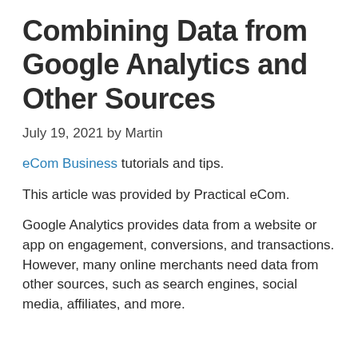Combining Data from Google Analytics and Other Sources
July 19, 2021 by Martin
eCom Business tutorials and tips.
This article was provided by Practical eCom.
Google Analytics provides data from a website or app on engagement, conversions, and transactions. However, many online merchants need data from other sources, such as search engines, social media, affiliates, and more.